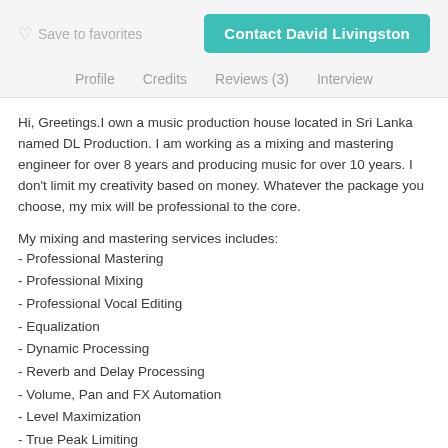Save to favorites   Contact David Livingston
Profile   Credits   Reviews (3)   Interview
Hi, Greetings.I own a music production house located in Sri Lanka named DL Production. I am working as a mixing and mastering engineer for over 8 years and producing music for over 10 years. I don't limit my creativity based on money. Whatever the package you choose, my mix will be professional to the core.
My mixing and mastering services includes:
- Professional Mastering
- Professional Mixing
- Professional Vocal Editing
- Equalization
- Dynamic Processing
- Reverb and Delay Processing
- Volume, Pan and FX Automation
- Level Maximization
- True Peak Limiting
- Loudness Matching to your Reference Track
- HQ File